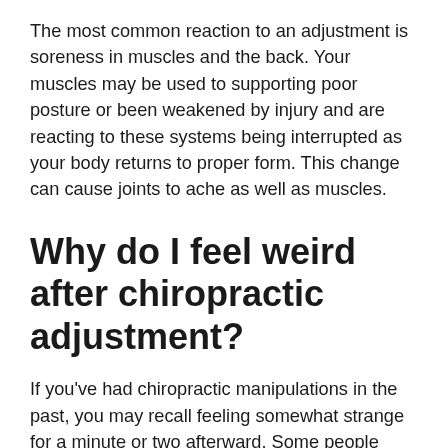The most common reaction to an adjustment is soreness in muscles and the back. Your muscles may be used to supporting poor posture or been weakened by injury and are reacting to these systems being interrupted as your body returns to proper form. This change can cause joints to ache as well as muscles.
Why do I feel weird after chiropractic adjustment?
If you've had chiropractic manipulations in the past, you may recall feeling somewhat strange for a minute or two afterward. Some people describe this as dizziness, lightheadedness, or even feeling a bit tipsy.